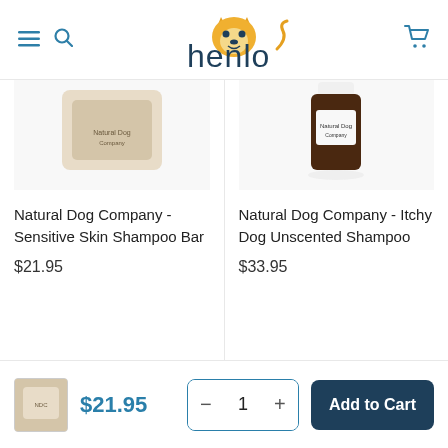[Figure (logo): Henlo pet brand logo with corgi face and text 'henlo']
[Figure (photo): Natural Dog Company Sensitive Skin Shampoo Bar product image (cropped top view)]
Natural Dog Company - Sensitive Skin Shampoo Bar
$21.95
[Figure (photo): Natural Dog Company Itchy Dog Unscented Shampoo bottle product image (cropped top view, dark brown bottle)]
Natural Dog Company - Itchy Dog Unscented Shampoo
$33.95
$21.95